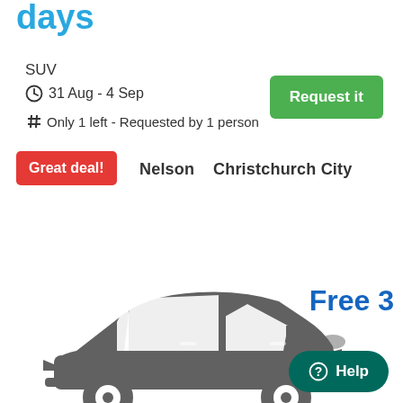days
SUV
31 Aug - 4 Sep
Only 1 left - Requested by 1 person
Request it
Nelson    Christchurch City
Great deal!
[Figure (illustration): Grey car icon silhouette facing right]
Free 3
Help